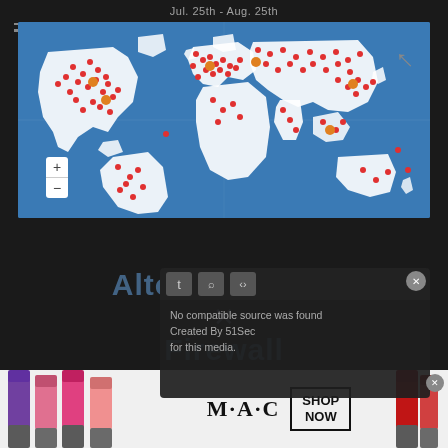Jul. 25th - Aug. 25th
[Figure (map): World map on blue background showing geographic distribution of red and orange dots (data points/events) across continents, with higher concentrations in North America, Europe, and Asia.]
No compatible source was found Created By 51Sec for this media.
Alto Viv Series X Firewall
[Figure (photo): MAC Cosmetics advertisement showing colorful lipsticks on left and right sides with MAC logo and SHOP NOW button in the center.]